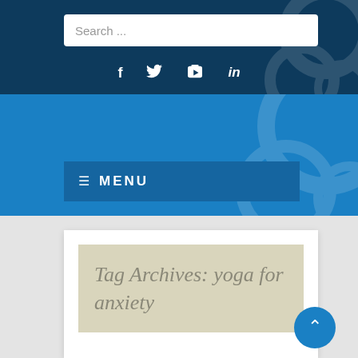Search ...
[Figure (screenshot): Social media icons: Facebook (f), Twitter (bird), YouTube, LinkedIn (in)]
≡  MENU
Tag Archives: yoga for anxiety